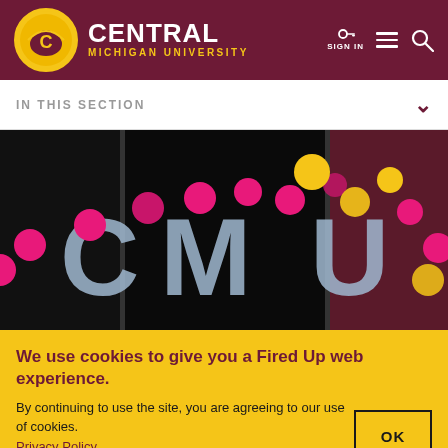Central Michigan University — SIGN IN
IN THIS SECTION
[Figure (photo): CMU signage with colorful pink and yellow polka dots on dark background, showing letters 'CMU']
We use cookies to give you a Fired Up web experience.
By continuing to use the site, you are agreeing to our use of cookies. Privacy Policy.